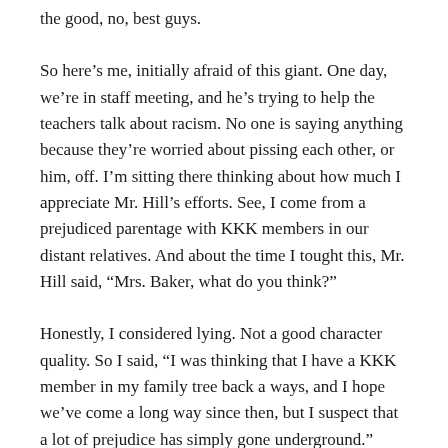the good, no, best guys.
So here’s me, initially afraid of this giant. One day, we’re in staff meeting, and he’s trying to help the teachers talk about racism. No one is saying anything because they’re worried about pissing each other, or him, off. I’m sitting there thinking about how much I appreciate Mr. Hill’s efforts. See, I come from a prejudiced parentage with KKK members in our distant relatives. And about the time I tought this, Mr. Hill said, “Mrs. Baker, what do you think?”
Honestly, I considered lying. Not a good character quality. So I said, “I was thinking that I have a KKK member in my family tree back a ways, and I hope we’ve come a long way since then, but I suspect that a lot of prejudice has simply gone underground.” Truth.